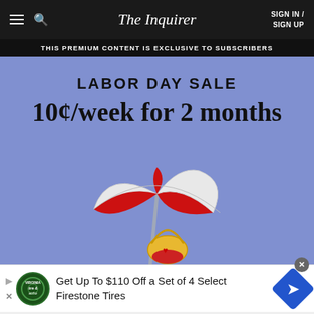The Inquirer | SIGN IN / SIGN UP
THIS PREMIUM CONTENT IS EXCLUSIVE TO SUBSCRIBERS
LABOR DAY SALE
10¢/week for 2 months
[Figure (illustration): Beach umbrella (red and white) with a small yellow and red bucket bag beneath it, on a blue/periwinkle background]
Get Up To $110 Off a Set of 4 Select Firestone Tires